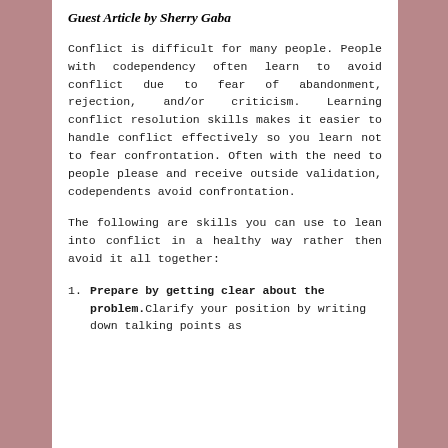Guest Article by Sherry Gaba
Conflict is difficult for many people. People with codependency often learn to avoid conflict due to fear of abandonment, rejection, and/or criticism. Learning conflict resolution skills makes it easier to handle conflict effectively so you learn not to fear confrontation. Often with the need to people please and receive outside validation, codependents avoid confrontation.
The following are skills you can use to lean into conflict in a healthy way rather then avoid it all together:
Prepare by getting clear about the problem.Clarify your position by writing down talking points as